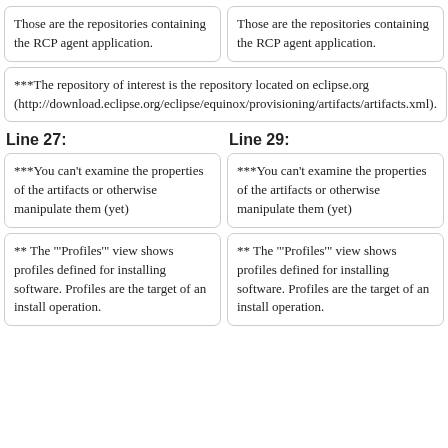Those are the repositories containing the RCP agent application.
Those are the repositories containing the RCP agent application.
***The repository of interest is the repository located on eclipse.org (http://download.eclipse.org/eclipse/equinox/provisioning/artifacts/artifacts.xml).
***The repository of interest is the repository located on eclipse.org (http://download.eclipse.org/eclipse/equinox/provisioning/artifacts/artifacts.xml).
Line 27:
Line 29:
***You can't examine the properties of the artifacts or otherwise manipulate them (yet)
***You can't examine the properties of the artifacts or otherwise manipulate them (yet)
** The "'Profiles'" view shows profiles defined for installing software.  Profiles are the target of an install operation.
** The "'Profiles'" view shows profiles defined for installing software.  Profiles are the target of an install operation.